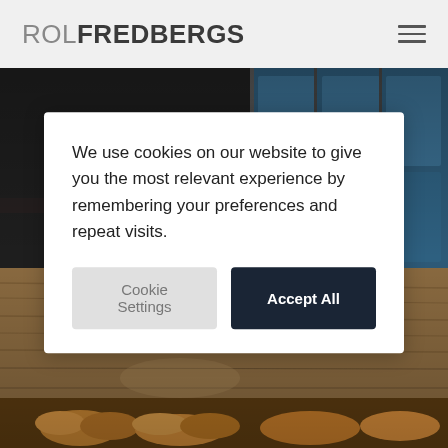ROL FREDBERGS
[Figure (photo): Interior of a restaurant/café with black bar stools, wooden floor, and glass partition doors with a blue-tinted background. Bottom portion shows pastries on a table.]
We use cookies on our website to give you the most relevant experience by remembering your preferences and repeat visits.
Cookie Settings
Accept All